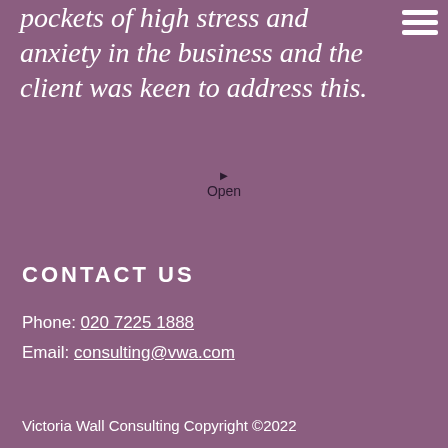pockets of high stress and anxiety in the business and the client was keen to address this.
Open
CONTACT US
Phone: 020 7225 1888
Email: consulting@vwa.com
Victoria Wall Consulting Copyright ©2022